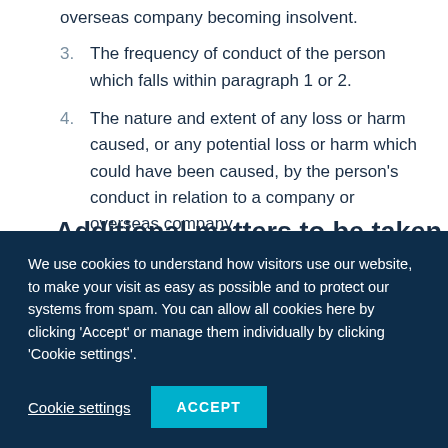was responsible for the cause of a company or overseas company becoming insolvent.
3.  The frequency of conduct of the person which falls within paragraph 1 or 2.
4.  The nature and extent of any loss or harm caused, or any potential loss or harm which could have been caused, by the person's conduct in relation to a company or overseas company.
Additional matters to be taken into
We use cookies to understand how visitors use our website, to make your visit as easy as possible and to protect our systems from spam. You can allow all cookies here by clicking 'Accept' or manage them individually by clicking 'Cookie settings'.
Cookie settings
ACCEPT